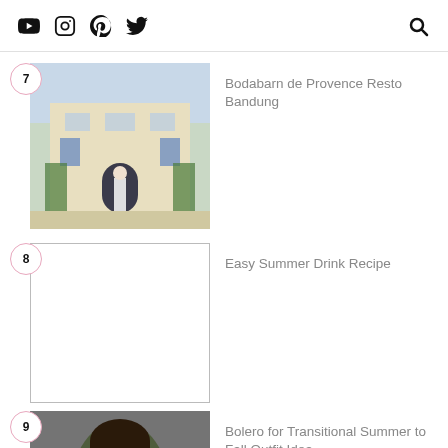YouTube Instagram Pinterest Twitter [Search]
7 Bodabarn de Provence Resto Bandung
8 Easy Summer Drink Recipe
9 Bolero for Transitional Summer to Fall Outfit Idea
10 Monogram Trend